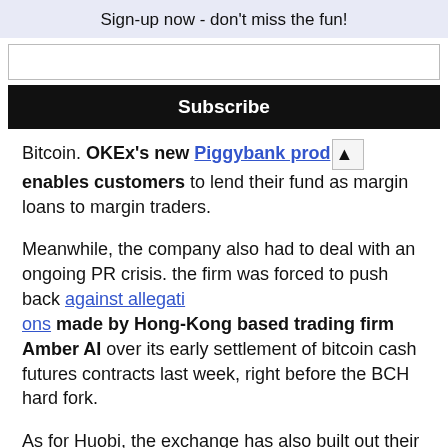Sign-up now - don't miss the fun!
Bitcoin. OKEx's new Piggybank prod [tooltip] enables customers to lend their fund as margin loans to margin traders.
Meanwhile, the company also had to deal with an ongoing PR crisis. the firm was forced to push back against allegations made by Hong-Kong based trading firm Amber AI over its early settlement of bitcoin cash futures contracts last week, right before the BCH hard fork.
As for Huobi, the exchange has also built out their presence around the world albeit with some operational hiccups along the way. For one, it has recently dismissed C...